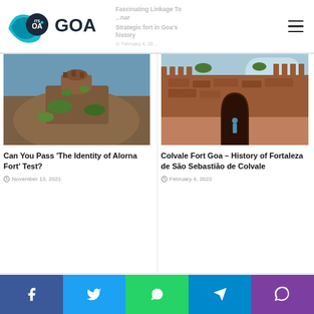[Figure (logo): ItsGoa website logo with circular wave icon and text ITS GOA]
Fascinating Linkage To ... Strategic fort in Goa's history
[Figure (photo): Alorna Fort - a stone fort covered in green vegetation on a rocky hill]
Can You Pass 'The Identity of Alorna Fort' Test?
November 13, 2021
[Figure (photo): Colvale Fort Goa - stone archway entrance through red laterite fort walls]
Colvale Fort Goa – History of Fortaleza de São Sebastião de Colvale
February 4, 2022
#TrendingInGoa